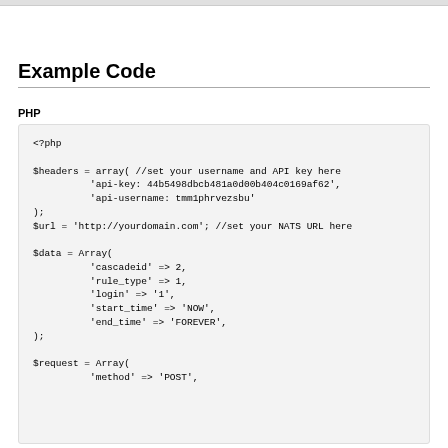Example Code
PHP
<?php

$headers = array( //set your username and API key here
          'api-key: 44b5498dbcb481a0d00b404c0169af62',
          'api-username: tmm1phrvezsbu'
);
$url = 'http://yourdomain.com'; //set your NATS URL here

$data = Array(
          'cascadeid' => 2,
          'rule_type' => 1,
          'login' => '1',
          'start_time' => 'NOW',
          'end_time' => 'FOREVER',
);

$request = Array(
          'method' => 'POST',